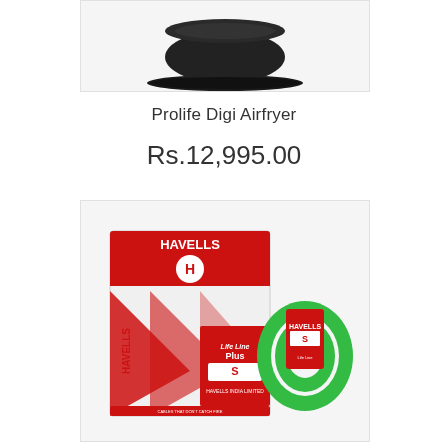[Figure (photo): Photo of a black Prolife Digi Airfryer product, showing the bottom portion of the device against a light gray background]
Prolife Digi Airfryer
Rs.12,995.00
[Figure (photo): Photo of Havells Life Line Plus S cable product — a white box with red HAVELLS branding and geometric red triangle design, with a green coil of electrical wire beside it]